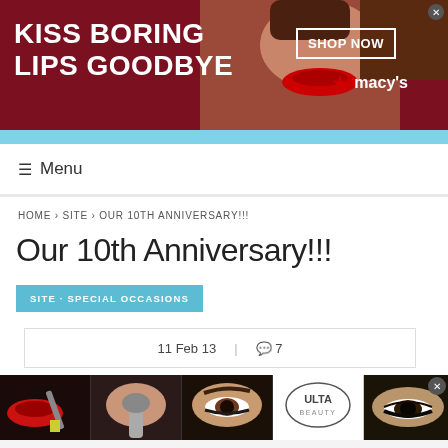[Figure (photo): Macy's advertisement banner: 'KISS BORING LIPS GOODBYE' with a model with red lips, SHOP NOW button, Macy's star logo, close button]
≡ Menu
HOME › SITE › OUR 10TH ANNIVERSARY!!!
Our 10th Anniversary!!!
SITE · SPECIAL OCCASIONS
11 Feb 13  🗨 7
[Figure (photo): Bottom ad strip showing makeup/beauty images including lips with brush, eyebrows, Ulta Beauty logo, eye makeup, and SHOP NOW panel]